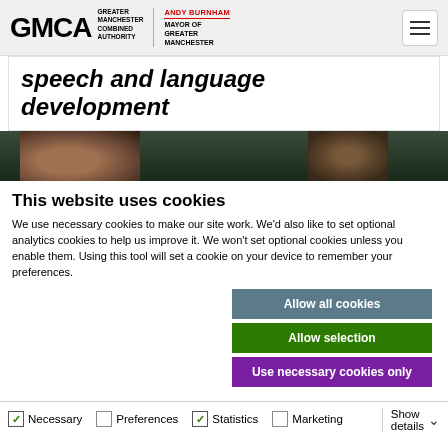GMCA Greater Manchester Combined Authority | Andy Burnham Mayor of Greater Manchester
speech and language development
[Figure (photo): Partial view of faces/people, cropped at top]
This website uses cookies
We use necessary cookies to make our site work. We'd also like to set optional analytics cookies to help us improve it. We won't set optional cookies unless you enable them. Using this tool will set a cookie on your device to remember your preferences.
Allow all cookies | Allow selection | Use necessary cookies only
Necessary  Preferences  Statistics  Marketing  Show details